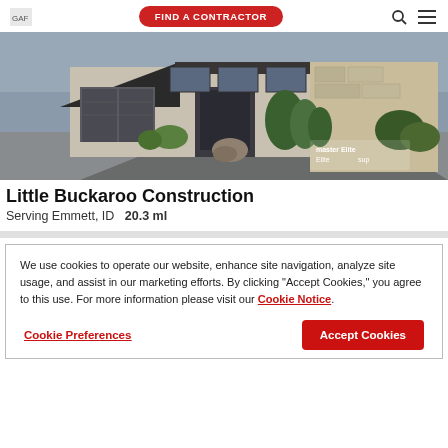GAF | FIND A CONTRACTOR
[Figure (photo): Exterior photo of a modern luxury house with dark shingle roof, three-car garage, stone accents, and landscaping. Overlay text reads 'master Elite' and 'sup'.]
Little Buckaroo Construction
Serving Emmett, ID   20.3 ml
We use cookies to operate our website, enhance site navigation, analyze site usage, and assist in our marketing efforts. By clicking "Accept Cookies," you agree to this use. For more information please visit our Cookie Notice.
Cookie Preferences | Accept Cookies